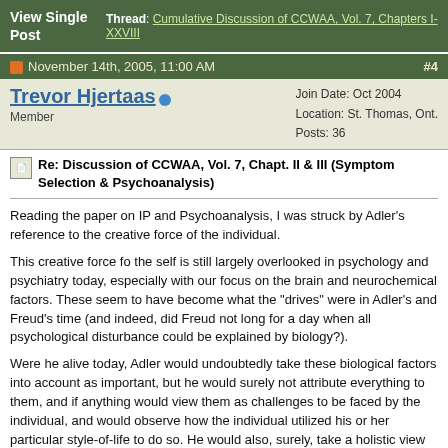View Single Post | Thread: Cumulative Discussion of CCWAA, Vol. 7, Chapters I-XXVIII
November 14th, 2005, 11:00 AM | #4
Trevor Hjertaas | Member | Join Date: Oct 2004 | Location: St. Thomas, Ont. | Posts: 36
Re: Discussion of CCWAA, Vol. 7, Chapt. II & III (Symptom Selection & Psychoanalysis)
Reading the paper on IP and Psychoanalysis, I was struck by Adler's reference to the creative force of the individual.
This creative force fo the self is still largely overlooked in psychology and psychiatry today, especially with our focus on the brain and neurochemical factors. These seem to have become what the "drives" were in Adler's and Freud's time (and indeed, did Freud not long for a day when all psychological disturbance could be explained by biology?).
Were he alive today, Adler would undoubtedly take these biological factors into account as important, but he would surely not attribute everything to them, and if anything would view them as challenges to be faced by the individual, and would observe how the individual utilized his or her particular style-of-life to do so. He would also, surely, take a holistic view of neurochemistry, and note how not only can neurochemical imbalance lead to psychological disturbance, but that psychological disturbance (such as a less than useful style of life) can contribute to the development of an "imbalanced" neurochemical state in the brain (which just happens to support the individual's style of life). In